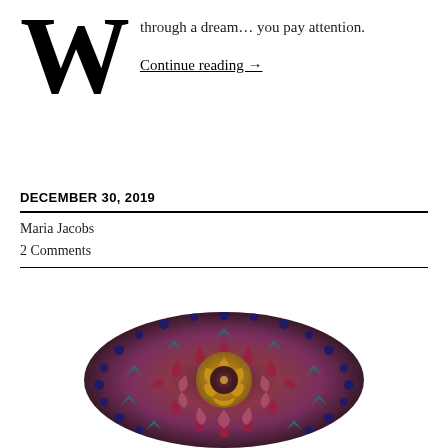through a dream… you pay attention.
Continue reading →
DECEMBER 30, 2019
Maria Jacobs
2 Comments
[Figure (illustration): Circular fractal mandala with intricate symmetrical patterns in shades of burgundy/mauve, dark blue, teal, and gold. The mandala features flower-like geometric designs radiating from a central rose/flower motif surrounded by ornate layered petals and border patterns.]